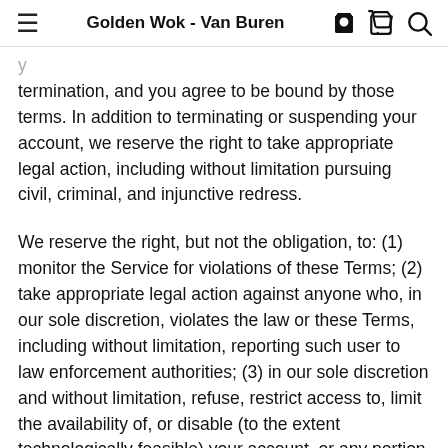Golden Wok - Van Buren
termination, and you agree to be bound by those terms. In addition to terminating or suspending your account, we reserve the right to take appropriate legal action, including without limitation pursuing civil, criminal, and injunctive redress.
We reserve the right, but not the obligation, to: (1) monitor the Service for violations of these Terms; (2) take appropriate legal action against anyone who, in our sole discretion, violates the law or these Terms, including without limitation, reporting such user to law enforcement authorities; (3) in our sole discretion and without limitation, refuse, restrict access to, limit the availability of, or disable (to the extent technologically feasible) your account, or any portion thereof; (4) in our sole discretion and without limitation, notice, or...